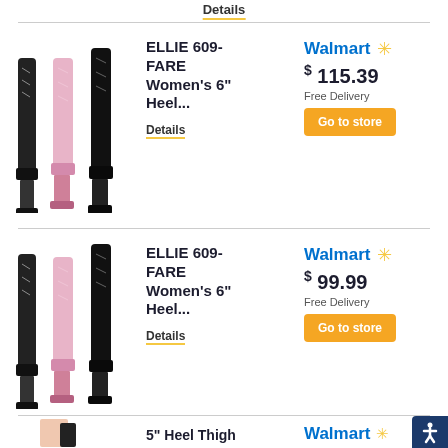Details
[Figure (photo): Three high-heel thigh-high boots (two black, one pink) with lace-up detail, platform soles]
ELLIE 609-FARE Women's 6" Heel...
Details
Walmart $115.39 Free Delivery
Go to store
[Figure (photo): Three high-heel thigh-high boots (two black, one pink) with lace-up detail, platform soles]
ELLIE 609-FARE Women's 6" Heel...
Details
Walmart $99.99 Free Delivery
Go to store
[Figure (photo): Partial view of thigh-high boots]
5" Heel Thigh
Walmart